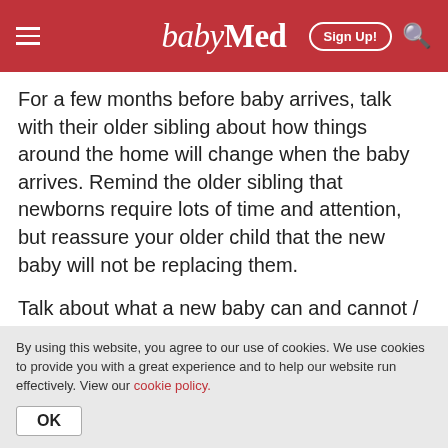babyMed | Sign Up!
For a few months before baby arrives, talk with their older sibling about how things around the home will change when the baby arrives. Remind the older sibling that newborns require lots of time and attention, but reassure your older child that the new baby will not be replacing them.
Talk about what a new baby can and cannot / will and will not do. It can be hard for an older sibling to understand just how living with a newborn
By using this website, you agree to our use of cookies. We use cookies to provide you with a great experience and to help our website run effectively. View our cookie policy.